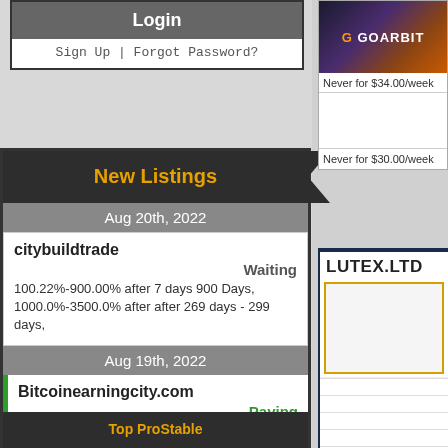Login
Sign Up | Forgot Password?
New Listings
Aug 20th, 2022
citybuildtrade
Waiting
100.22%-900.00% after 7 days 900 Days, 1000.0%-3500.0% after after 269 days - 299 days,
Aug 19th, 2022
Bitcoinearningcity.com
Paying
0.39%- 0.56% Daily depending on interest.
Top ProStable
[Figure (screenshot): GoArbit advertisement banner with logo on dark bokeh background]
Never for $34.00/week
Never for $30.00/week
[Figure (screenshot): LUTEX.LTD investment site widget with yellow-bordered image area and social icons AHM GC YT FB]